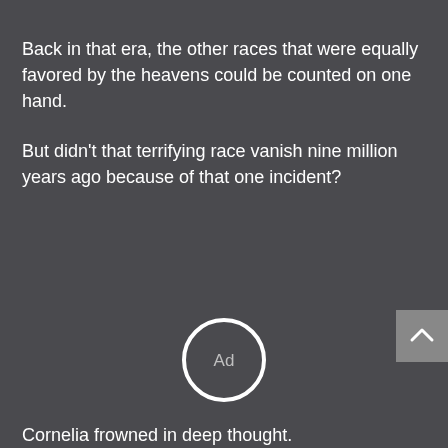Back in that era, the other races that were equally favored by the heavens could be counted on one hand.
But didn’t that terrifying race vanish nine million years ago because of that one incident?
[Figure (other): Circular Ad button/overlay with white ring and 'Ad' label in center, plus a grey scroll-to-top button with upward chevron on the right edge]
Cornelia frowned in deep thought.